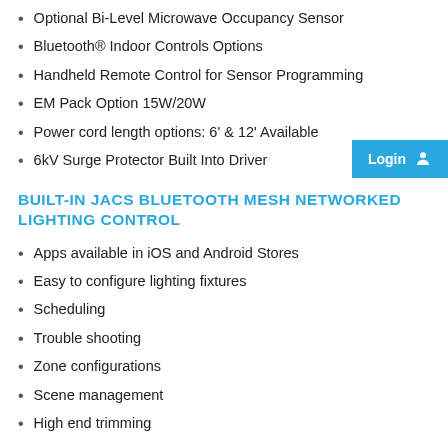Optional Bi-Level Microwave Occupancy Sensor
Bluetooth® Indoor Controls Options
Handheld Remote Control for Sensor Programming
EM Pack Option 15W/20W
Power cord length options: 6' & 12' Available
6kV Surge Protector Built Into Driver
BUILT-IN JACS BLUETOOTH MESH NETWORKED LIGHTING CONTROL
Apps available in iOS and Android Stores
Easy to configure lighting fixtures
Scheduling
Trouble shooting
Zone configurations
Scene management
High end trimming
WIRELESS BLUETOOTH LIGHTING CONTROL SYSTEM